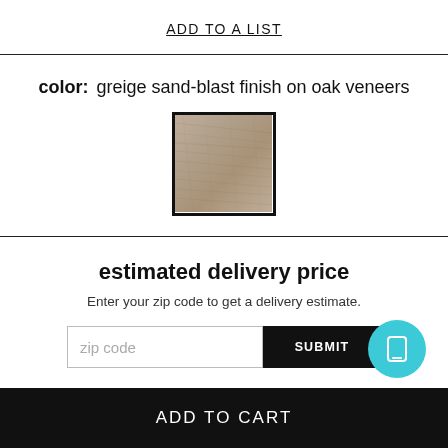ADD TO A LIST
color: greige sand-blast finish on oak veneers
[Figure (other): Wood veneer color swatch showing greige sand-blast finish on oak veneers]
estimated delivery price
Enter your zip code to get a delivery estimate.
zip code  SUBMIT
ADD TO CART